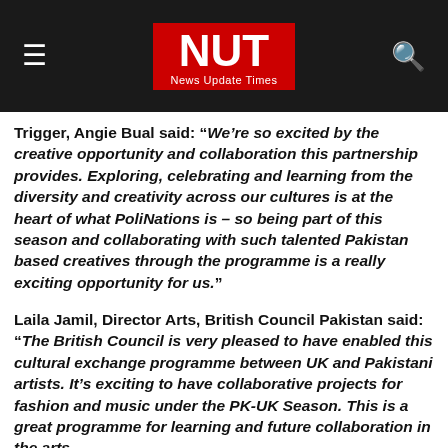NUT News Update Times
Trigger, Angie Bual said: “We’re so excited by the creative opportunity and collaboration this partnership provides. Exploring, celebrating and learning from the diversity and creativity across our cultures is at the heart of what PoliNations is – so being part of this season and collaborating with such talented Pakistan based creatives through the programme is a really exciting opportunity for us.”
Laila Jamil, Director Arts, British Council Pakistan said: “The British Council is very pleased to have enabled this cultural exchange programme between UK and Pakistani artists. It’s exciting to have collaborative projects for fashion and music under the PK-UK Season. This is a great programme for learning and future collaboration in the arts.